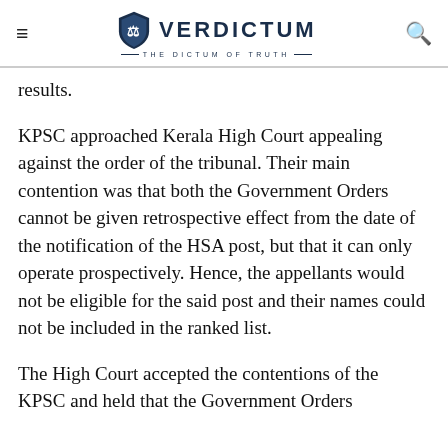VERDICTUM — THE DICTUM OF TRUTH
results.
KPSC approached Kerala High Court appealing against the order of the tribunal. Their main contention was that both the Government Orders cannot be given retrospective effect from the date of the notification of the HSA post, but that it can only operate prospectively. Hence, the appellants would not be eligible for the said post and their names could not be included in the ranked list.
The High Court accepted the contentions of the KPSC and held that the Government Orders